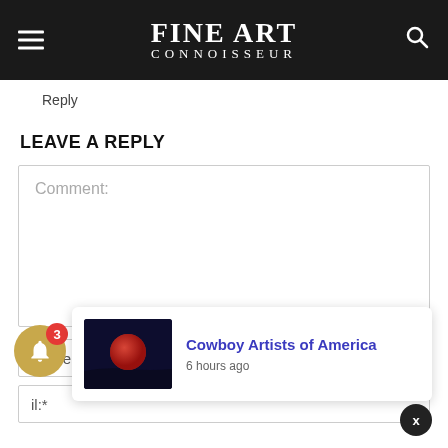FINE ART CONNOISSEUR
Reply
LEAVE A REPLY
Comment:
Name:*
il:*
[Figure (screenshot): Notification popup showing 'Cowboy Artists of America' article with a red moon thumbnail image, posted 6 hours ago. A gold bell icon with badge '3' is in the lower left. A black X close button is in the upper right of the popup area.]
Cowboy Artists of America
6 hours ago